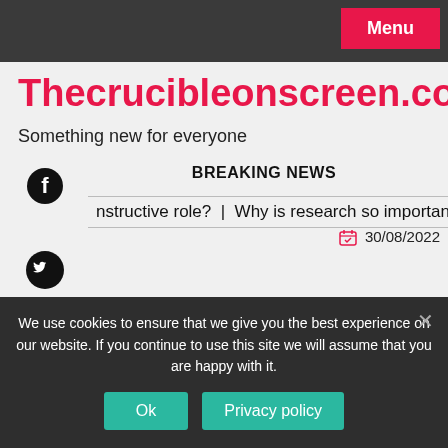Menu
Thecrucibleonscreen.com
Something new for everyone
BREAKING NEWS
nstructive role?  |  Why is research so important?  |  Did Ach
30/08/2022
We use cookies to ensure that we give you the best experience on our website. If you continue to use this site we will assume that you are happy with it.
Ok   Privacy policy